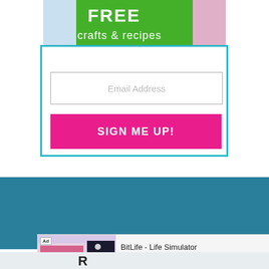[Figure (illustration): Green and colorful banner with bold white text 'FREE crafts & recipes' and colorful craft items in the background]
[Figure (screenshot): Email signup form with a text input labeled 'Email Address' and a hot-pink button labeled 'SIGN ME UP!']
[Figure (illustration): Teal background section (footer or content area)]
[Figure (screenshot): Ad banner for BitLife - Life Simulator with 'Install!' call to action]